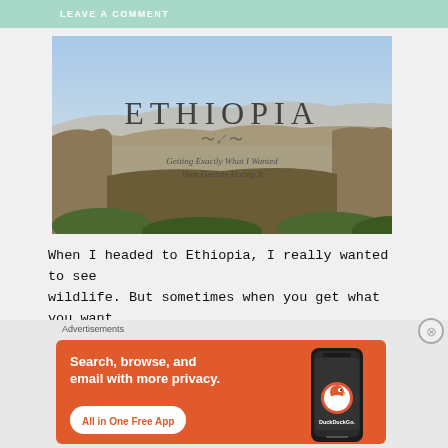LEAVE A COMMENT
[Figure (photo): Landscape panorama of Ethiopian canyon/gorge terrain with mountains and sky, overlaid with serif text reading 'ETHIOPIA' and italic subtitle 'Getting Exactly What I Wanted Then Guiltily Hating It']
When I headed to Ethiopia, I really wanted to see wildlife. But sometimes when you get what you want.
Advertisements
[Figure (screenshot): DuckDuckGo advertisement banner with orange background. Left side text: 'Search, browse, and email with more privacy.' with white pill button 'All in One Free App'. Right side shows a smartphone with DuckDuckGo logo and app icon.]